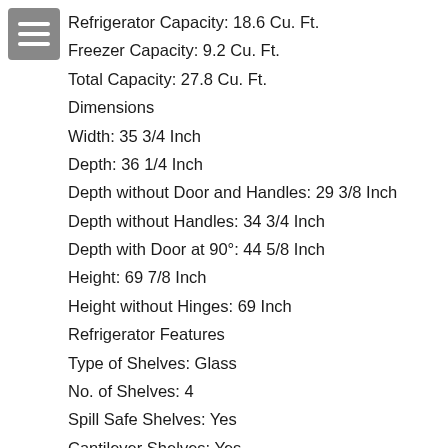[Figure (other): Menu/hamburger icon — three white horizontal bars on a grey rounded square background]
Refrigerator Capacity: 18.6 Cu. Ft.
Freezer Capacity: 9.2 Cu. Ft.
Total Capacity: 27.8 Cu. Ft.
Dimensions
Width: 35 3/4 Inch
Depth: 36 1/4 Inch
Depth without Door and Handles: 29 3/8 Inch
Depth without Handles: 34 3/4 Inch
Depth with Door at 90°: 44 5/8 Inch
Height: 69 7/8 Inch
Height without Hinges: 69 Inch
Refrigerator Features
Type of Shelves: Glass
No. of Shelves: 4
Spill Safe Shelves: Yes
Cantilever Shelves: Yes
Split Shelves: Yes
No. of Door Bins: 6